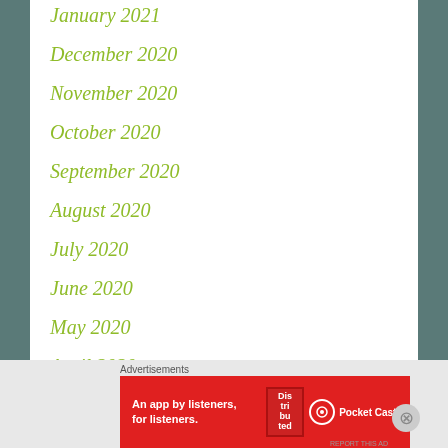January 2021
December 2020
November 2020
October 2020
September 2020
August 2020
July 2020
June 2020
May 2020
April 2020
Advertisements
[Figure (illustration): Pocket Casts advertisement banner: red background with text 'An app by listeners, for listeners.' and a phone showing 'Distributed' app, with Pocket Casts logo]